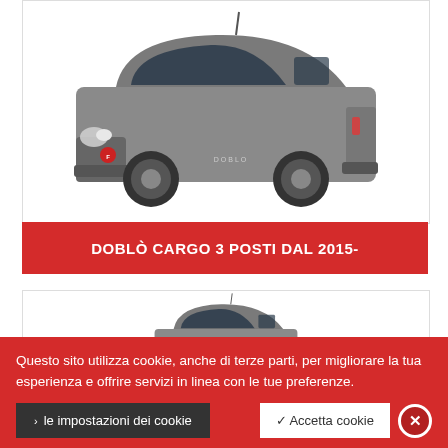[Figure (photo): Fiat Doblò Cargo van, gray color, 3/4 front view, on white background]
DOBLÒ CARGO 3 POSTI DAL 2015-
[Figure (photo): Fiat Doblò Cargo van, gray color, partially visible top portion, on white background]
Questo sito utilizza cookie, anche di terze parti, per migliorare la tua esperienza e offrire servizi in linea con le tue preferenze.
› le impostazioni dei cookie
✓ Accetta cookie